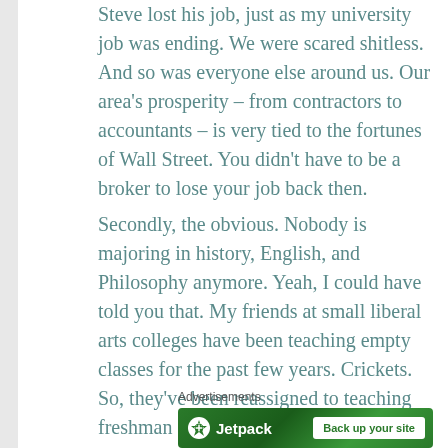Steve lost his job, just as my university job was ending. We were scared shitless. And so was everyone else around us. Our area's prosperity – from contractors to accountants – is very tied to the fortunes of Wall Street. You didn't have to be a broker to lose your job back then.
Secondly, the obvious. Nobody is majoring in history, English, and Philosophy anymore. Yeah, I could have told you that. My friends at small liberal arts colleges have been teaching empty classes for the past few years. Crickets. So, they've been reassigned to teaching freshman seminars or put into administration.
Advertisements
[Figure (other): Jetpack advertisement banner with green background showing Jetpack logo and 'Back up your site' button]